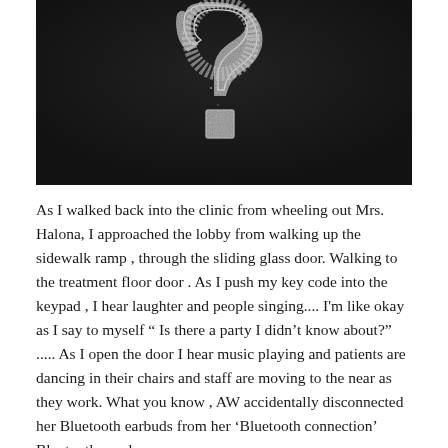[Figure (photo): A photograph of a glittery question mark on a dark background. The question mark is made of sparkly silver/white material against a near-black surface.]
As I walked back into the clinic from wheeling out Mrs. Halona, I approached the lobby from walking up the sidewalk ramp , through the sliding glass door. Walking to the treatment floor door . As I push my key code into the keypad , I hear laughter and people singing.... I'm like okay as I say to myself “ Is there a party I didn't know about?” ..... As I open the door I hear music playing and patients are dancing in their chairs and staff are moving to the near as they work. What you know , AW accidentally disconnected her Bluetooth earbuds from her ‘Bluetooth connection’ Bluetooth speaker